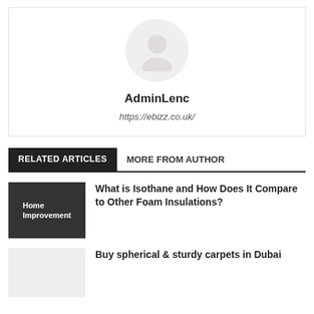[Figure (illustration): Author avatar placeholder circle with person silhouette icon in light gray]
AdminLenc
https://ebizz.co.uk/
RELATED ARTICLES
MORE FROM AUTHOR
What is Isothane and How Does It Compare to Other Foam Insulations?
Home Improvement
Buy spherical & sturdy carpets in Dubai